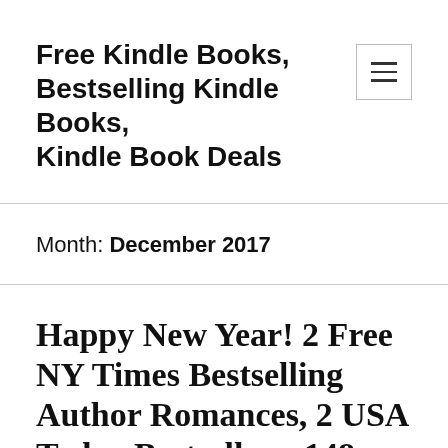Free Kindle Books, Bestselling Kindle Books, Kindle Book Deals
Month: December 2017
Happy New Year! 2 Free NY Times Bestselling Author Romances, 2 USA Today Bestsellers, 148 Free Kindle Books, 78 Kindle Book Deals